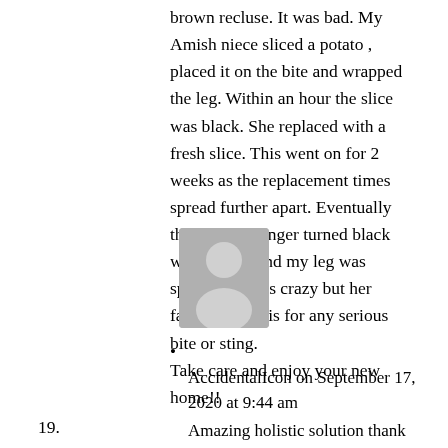brown recluse. It was bad. My Amish niece sliced a potato , placed it on the bite and wrapped the leg. Within an hour the slice was black. She replaced with a fresh slice. This went on for 2 weeks as the replacement times spread further apart. Eventually the slice no longer turned black with poison and my leg was spared. Sounds crazy but her family uses this for any serious bite or sting.
Take care and enjoy your new home!!
[Figure (photo): Gray placeholder avatar icon showing a silhouette of a person]
AccidentalIcon on September 17, 2020 at 9:44 am
Amazing holistic solution thank you.
19.